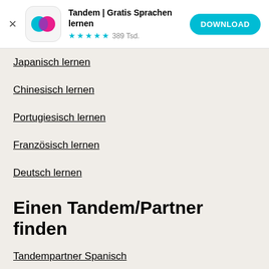[Figure (screenshot): App store banner for Tandem | Gratis Sprachen lernen with icon, star rating (4.5 stars, 389Tsd. reviews), and a DOWNLOAD button]
Japanisch lernen
Chinesisch lernen
Portugiesisch lernen
Französisch lernen
Deutsch lernen
Einen Tandem/Partner finden
Tandempartner Spanisch
Tandempartner Englisch